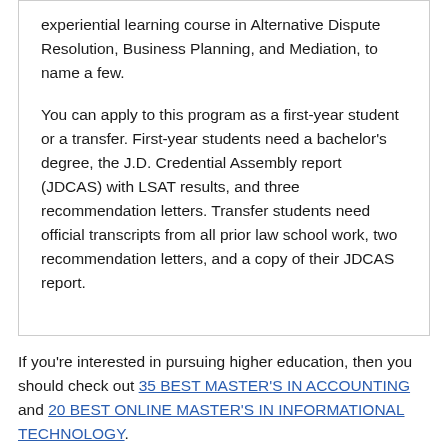experiential learning course in Alternative Dispute Resolution, Business Planning, and Mediation, to name a few.
You can apply to this program as a first-year student or a transfer. First-year students need a bachelor's degree, the J.D. Credential Assembly report (JDCAS) with LSAT results, and three recommendation letters. Transfer students need official transcripts from all prior law school work, two recommendation letters, and a copy of their JDCAS report.
If you're interested in pursuing higher education, then you should check out 35 BEST MASTER'S IN ACCOUNTING and 20 BEST ONLINE MASTER'S IN INFORMATIONAL TECHNOLOGY.